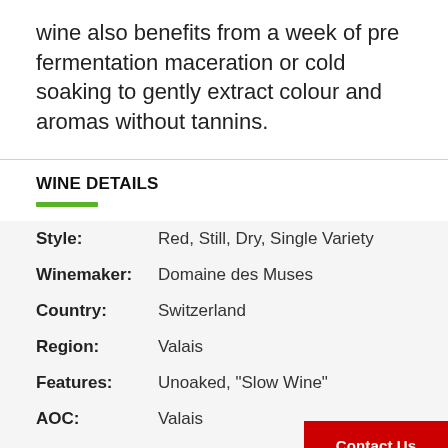wine also benefits from a week of pre fermentation maceration or cold soaking to gently extract colour and aromas without tannins.
WINE DETAILS
| Label | Value |
| --- | --- |
| Style: | Red, Still, Dry, Single Variety |
| Winemaker: | Domaine des Muses |
| Country: | Switzerland |
| Region: | Valais |
| Features: | Unoaked, "Slow Wine" |
| AOC: | Valais |
| Aged In: | Foudre (big wood) |